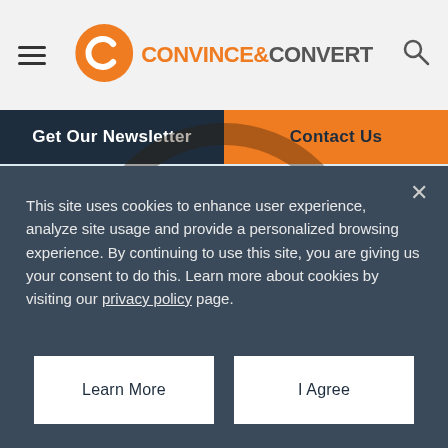[Figure (logo): Convince & Convert logo with orange C icon and orange/grey text]
Get Our Newsletter
Contact Us
[Figure (illustration): Light blue background section with orange semicircle at bottom and dark brown circular outline ring behind cookie banner with 'Ready to Get' text visible]
This site uses cookies to enhance user experience, analyze site usage and provide a personalized browsing experience. By continuing to use this site, you are giving us your consent to do this. Learn more about cookies by visiting our privacy policy page.
Learn More
I Agree